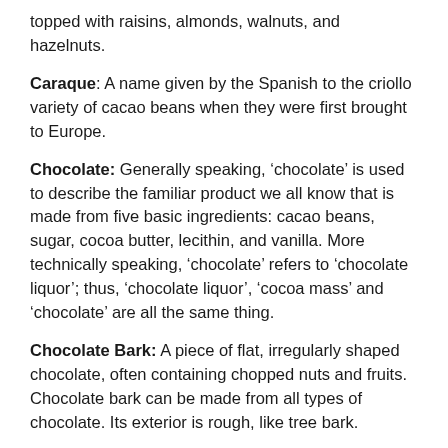topped with raisins, almonds, walnuts, and hazelnuts.
Caraque: A name given by the Spanish to the criollo variety of cacao beans when they were first brought to Europe.
Chocolate: Generally speaking, 'chocolate' is used to describe the familiar product we all know that is made from five basic ingredients: cacao beans, sugar, cocoa butter, lecithin, and vanilla. More technically speaking, 'chocolate' refers to 'chocolate liquor'; thus, 'chocolate liquor', 'cocoa mass' and 'chocolate' are all the same thing.
Chocolate Bark: A piece of flat, irregularly shaped chocolate, often containing chopped nuts and fruits. Chocolate bark can be made from all types of chocolate. Its exterior is rough, like tree bark.
Chocolate Coating: An inexpensive product used to replace real chocolate, made by removing some or all of the cocoa butter from chocolate liquor and replacing it with less expensive vegetable fat of some kind.
Chocolate Cremebrulee: Cold chocolate custard sprinkled